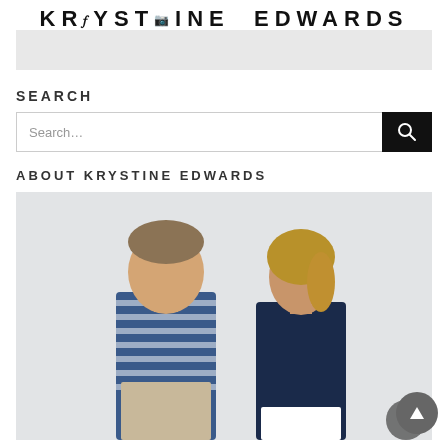KRYSTINE EDWARDS
SEARCH
Search...
ABOUT KRYSTINE EDWARDS
[Figure (photo): A man in a blue striped t-shirt and a woman in a dark navy top smiling at each other, standing against a white wall.]